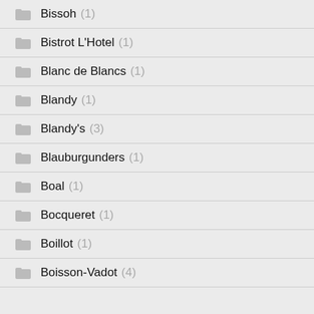Bissoh (1)
Bistrot L'Hotel (1)
Blanc de Blancs (1)
Blandy (1)
Blandy's (3)
Blauburgunders (1)
Boal (1)
Bocqueret (1)
Boillot (1)
Boisson-Vadot (4)